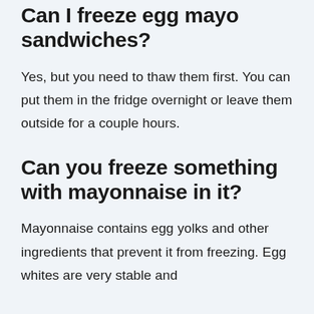Can I freeze egg mayo sandwiches?
Yes, but you need to thaw them first. You can put them in the fridge overnight or leave them outside for a couple hours.
Can you freeze something with mayonnaise in it?
Mayonnaise contains egg yolks and other ingredients that prevent it from freezing. Egg whites are very stable and